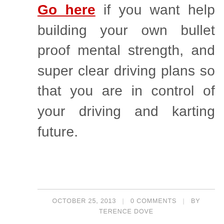Go here if you want help building your own bullet proof mental strength, and super clear driving plans so that you are in control of your driving and karting future.
OCTOBER 25, 2013 | 0 COMMENTS | BY TERENCE DOVE
UNCATEGORIZED
Bring on the rain